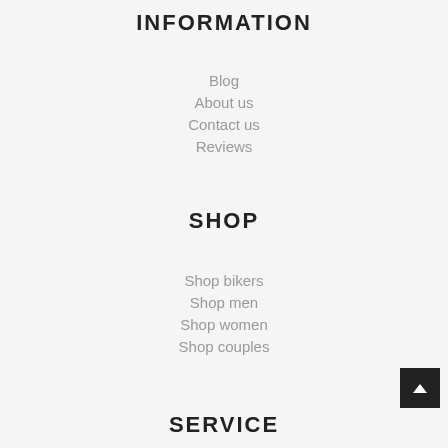INFORMATION
Blog
About us
Contact us
Reviews
SHOP
Shop bikers
Shop men
Shop women
Shop couples
SERVICE